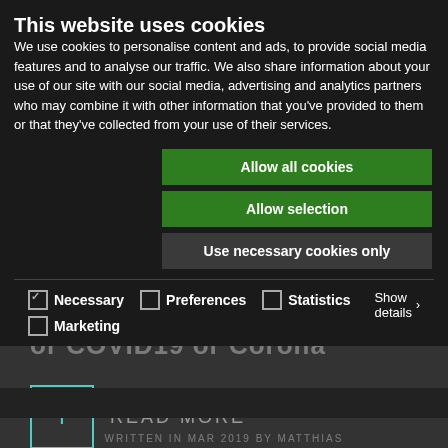This website uses cookies
We use cookies to personalise content and ads, to provide social media features and to analyse our traffic. We also share information about your use of our site with our social media, advertising and analytics partners who may combine it with other information that you've provided to them or that they've collected from your use of their services.
Allow all cookies
Allow selection
Use necessary cookies only
Necessary  Preferences  Statistics  Marketing  Show details
or COVID19 or Corona
+ READ MORE
WRITTEN IN MAR 2019 BY MATTHIAS